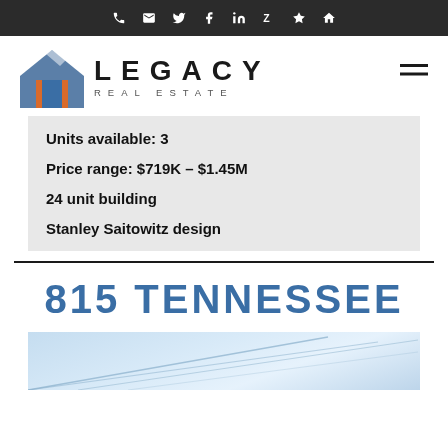Legacy Real Estate — navigation icons (phone, email, twitter, facebook, linkedin, zillow, yelp, home)
[Figure (logo): Legacy Real Estate logo with house icon (blue roof, orange house body) and text LEGACY REAL ESTATE]
Units available: 3
Price range: $719K – $1.45M
24 unit building
Stanley Saitowitz design
815 TENNESSEE
[Figure (photo): Partial view of a modern building exterior with light blue sky and diagonal architectural lines]